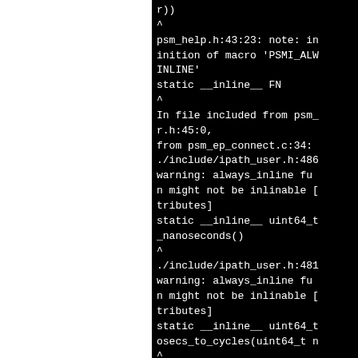r))
^
psm_help.h:43:23: note: in
inition of macro 'PSMI_ALW
INLINE'
static __inline__ FN
^
In file included from psm_
r.h:45:0,
from psm_ep_connect.c:34:
./include/ipath_user.h:486
warning: always_inline fu
n might not be inlinable [
tributes]
static __inline__ uint64_t
_nanoseconds()
^
./include/ipath_user.h:481
warning: always_inline fu
n might not be inlinable [
tributes]
static __inline__ uint64_t
osecs_to_cycles(uint64_t n
^